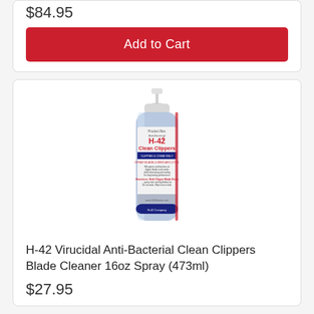$84.95
Add to Cart
[Figure (photo): H-42 Virucidal Anti-Bacterial Clean Clippers spray bottle, 16oz, with white pump top and label showing H-42 Clean Clippers branding in red and blue]
H-42 Virucidal Anti-Bacterial Clean Clippers Blade Cleaner 16oz Spray (473ml)
$27.95